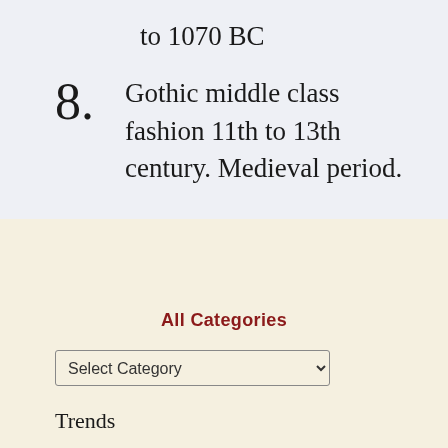to 1070 BC
8. Gothic middle class fashion 11th to 13th century. Medieval period.
All Categories
Select Category
Trends